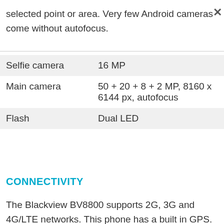selected point or area. Very few Android cameras come without autofocus.
| Selfie camera | 16 MP |
| Main camera | 50 + 20 + 8 + 2 MP, 8160 x 6144 px, autofocus |
| Flash | Dual LED |
CONNECTIVITY
The Blackview BV8800 supports 2G, 3G and 4G/LTE networks. This phone has a built in GPS. GPS is a highly